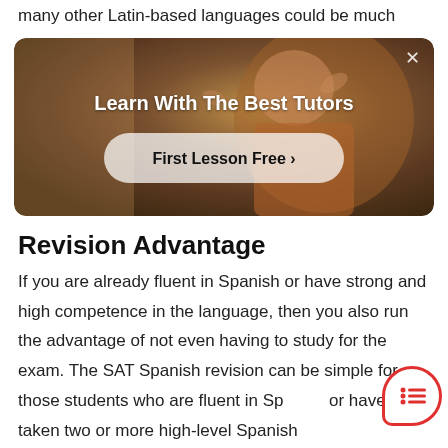many other Latin-based languages could be much
[Figure (screenshot): Advertisement banner for tutoring service showing a person in a red top gesturing, with text 'Learn With The Best Tutors' and a 'First Lesson Free >' button, and an X close button in the top right corner.]
Revision Advantage
If you are already fluent in Spanish or have strong and high competence in the language, then you also run the advantage of not even having to study for the exam. The SAT Spanish revision can be simple for those students who are fluent in Spanish or have taken two or more high-level Spanish